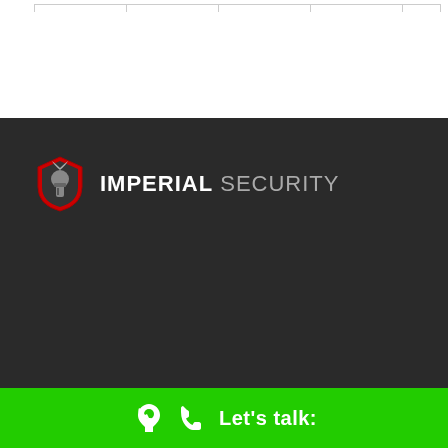[Figure (logo): Imperial Security logo: red shield with spartan helmet icon and text IMPERIAL SECURITY]
Let's talk: